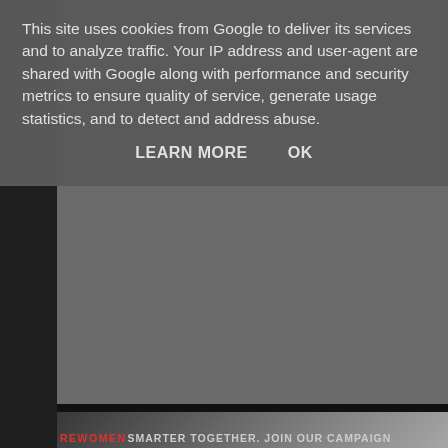This site uses cookies from Google to deliver its services and to analyze traffic. Your IP address and user-agent are shared with Google along with performance and security metrics to ensure quality of service, generate usage statistics, and to detect and address abuse.
LEARN MORE    OK
[Figure (screenshot): Partial view of a website page behind cookie consent overlay. Shows a dark banner with text 'REWOMEN SMARTER TOGETHER. JOIN OUR CAMPAIGN' and below it a dark background with text 'Included with subscriber copies!', then 'Marie Claire', '£4', 'Free L'Occitane hand cream - 6 to choose']
Included with subscriber copies!
Marie Claire
£4
Free L'Occitane hand cream - 6 to choose